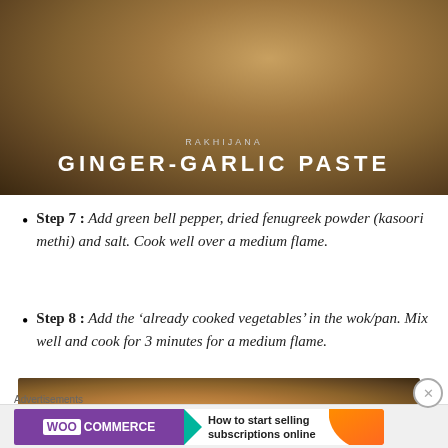[Figure (photo): Photo of a wok/pan with ginger-garlic paste cooking, with text overlay 'RAKHIJANA' and 'GINGER-GARLIC PASTE']
Step 7 : Add green bell pepper, dried fenugreek powder (kasoori methi) and salt. Cook well over a medium flame.
Step 8 : Add the ‘already cooked vegetables’ in the wok/pan. Mix well and cook for 3 minutes for a medium flame.
[Figure (photo): Photo of vegetables cooking in a wok/pan]
Advertisements
[Figure (photo): WooCommerce advertisement banner: How to start selling subscriptions online]